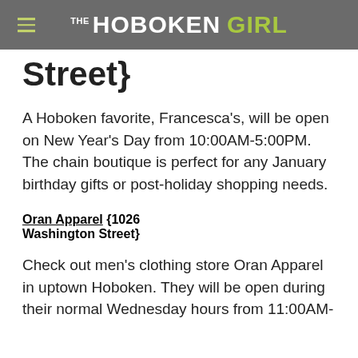THE HOBOKEN GIRL
Street}
A Hoboken favorite, Francesca’s, will be open on New Year’s Day from 10:00AM-5:00PM. The chain boutique is perfect for any January birthday gifts or post-holiday shopping needs.
Oran Apparel {1026 Washington Street}
Check out men’s clothing store Oran Apparel in uptown Hoboken. They will be open during their normal Wednesday hours from 11:00AM-